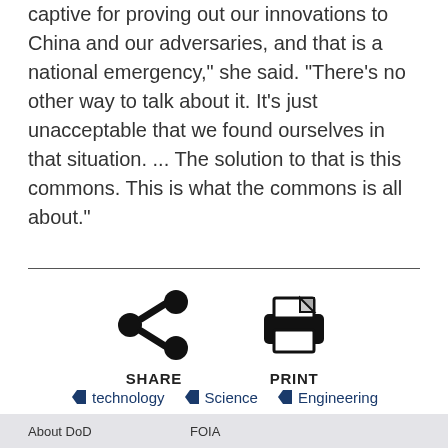captive for proving out our innovations to China and our adversaries, and that is a national emergency," she said. "There's no other way to talk about it. It's just unacceptable that we found ourselves in that situation. ... The solution to that is this commons. This is what the commons is all about."
[Figure (other): Share and Print icons with labels SHARE and PRINT]
technology
Science
Engineering
About DoD   FOIA